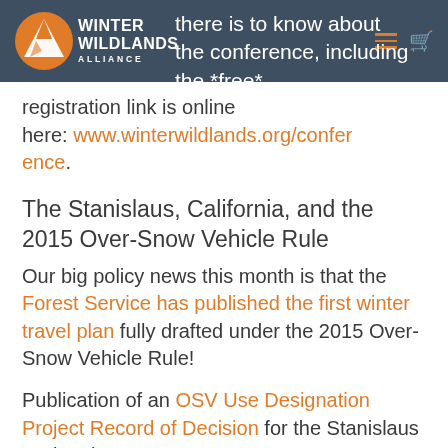Winter Wildlands Alliance — navigation bar with logo
…there is to know about the conference, including the *free* registration link is online here: www.winterwildlands.org/conference.
The Stanislaus, California, and the 2015 Over-Snow Vehicle Rule
Our big policy news this month is that the Forest Service has published the first winter travel plan fully drafted under the 2015 Over-Snow Vehicle Rule!
Publication of an OSV Use Designation Project Record of Decision for the Stanislaus National